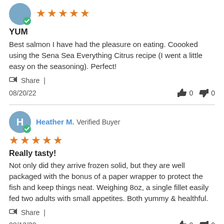YUM
Best salmon I have had the pleasure on eating. Coooked using the Sena Sea Everything Citrus recipe (I went a little easy on the seasoning). Perfect!
Share |
08/20/22   👍 0  👎 0
Heather M. Verified Buyer
Really tasty!
Not only did they arrive frozen solid, but they are well packaged with the bonus of a paper wrapper to protect the fish and keep things neat. Weighing 8oz, a single fillet easily fed two adults with small appetites. Both yummy & healthful.
Share |
08/13/22   👍 0  👎 0